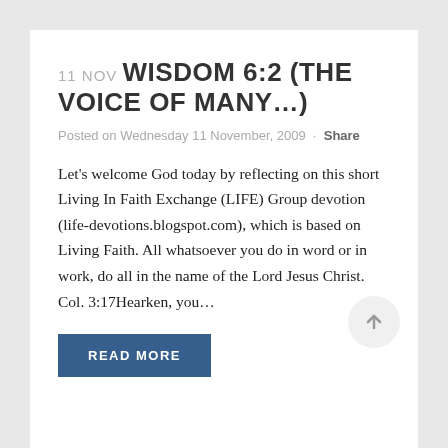11 NOV WISDOM 6:2 (THE VOICE OF MANY…)
Posted on Wednesday 11 November, 2009 · Share
Let's welcome God today by reflecting on this short Living In Faith Exchange (LIFE) Group devotion (life-devotions.blogspot.com), which is based on Living Faith. All whatsoever you do in word or in work, do all in the name of the Lord Jesus Christ. Col. 3:17Hearken, you…
READ MORE